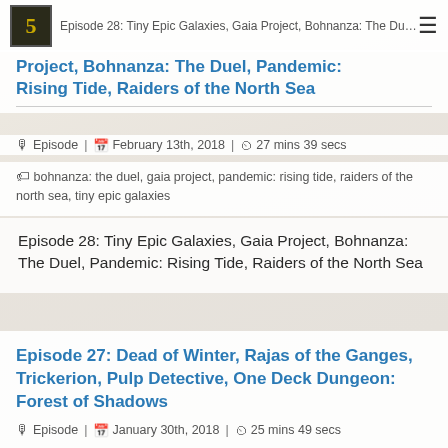5 | Episode 28: Tiny Epic Galaxies, Gaia Project, Bohnanza: The Duel, Pandemic: Rising Tide, Raiders of the North Sea
Project, Bohnanza: The Duel, Pandemic: Rising Tide, Raiders of the North Sea
Episode | February 13th, 2018 | 27 mins 39 secs
bohnanza: the duel, gaia project, pandemic: rising tide, raiders of the north sea, tiny epic galaxies
Episode 28: Tiny Epic Galaxies, Gaia Project, Bohnanza: The Duel, Pandemic: Rising Tide, Raiders of the North Sea
Episode 27: Dead of Winter, Rajas of the Ganges, Trickerion, Pulp Detective, One Deck Dungeon: Forest of Shadows
Episode | January 30th, 2018 | 25 mins 49 secs